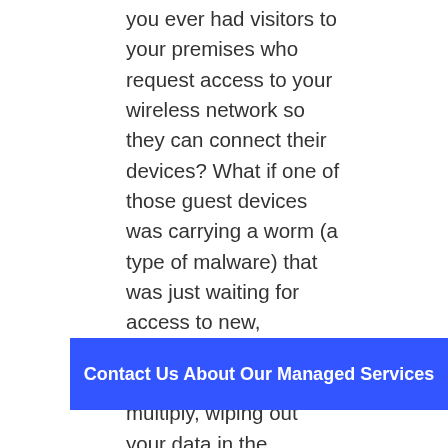you ever had visitors to your premises who request access to your wireless network so they can connect their devices? What if one of those guest devices was carrying a worm (a type of malware) that was just waiting for access to new, untouched networks so that it can spread and multiply, wiping out your data in the process. Fortunately, it is possible to setup completely segregated guest wireless networks so that your guests can still have access to the internet, but are blocked off from accessing anything within your internal network. Itâ€™s
Contact Us About Our Managed Services